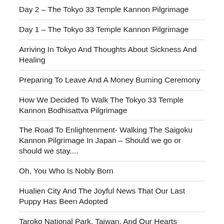Day 2 – The Tokyo 33 Temple Kannon Pilgrimage
Day 1 – The Tokyo 33 Temple Kannon Pilgrimage
Arriving In Tokyo And Thoughts About Sickness And Healing
Preparing To Leave And A Money Burning Ceremony
How We Decided To Walk The Tokyo 33 Temple Kannon Bodhisattva Pilgrimage
The Road To Enlightenment- Walking The Saigoku Kannon Pilgrimage In Japan – Should we go or should we stay....
Oh, You Who Is Nobly Born
Hualien City And The Joyful News That Our Last Puppy Has Been Adopted
Taroko National Park, Taiwan, And Our Hearts Rejoiced